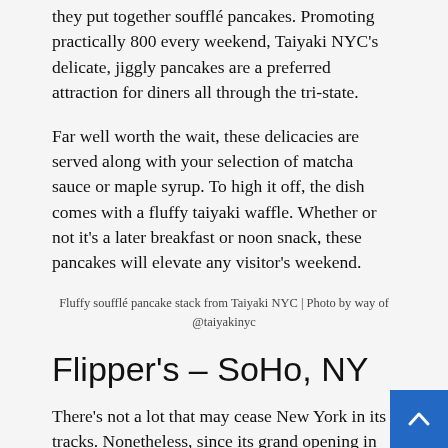they put together soufflé pancakes. Promoting practically 800 every weekend, Taiyaki NYC's delicate, jiggly pancakes are a preferred attraction for diners all through the tri-state.
Far well worth the wait, these delicacies are served along with your selection of matcha sauce or maple syrup. To high it off, the dish comes with a fluffy taiyaki waffle. Whether or not it's a later breakfast or noon snack, these pancakes will elevate any visitor's weekend.
Fluffy soufflé pancake stack from Taiyaki NYC | Photo by way of @taiyakinyc
Flipper's – SoHo, NY
There's not a lot that may cease New York in its tracks. Nonetheless, since its grand opening in 2019, Flipper's famously fluffy pancakes have achieved the